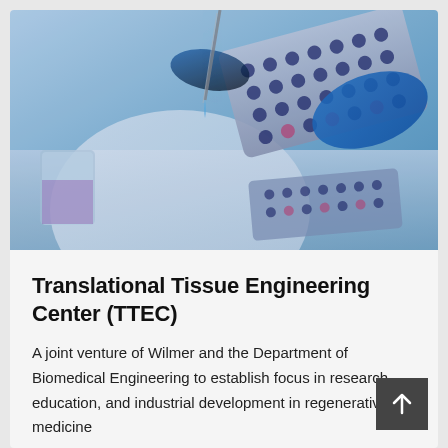[Figure (photo): Laboratory scientist in white lab coat and blue gloves using a pipette to load samples into a multi-well microplate/cell culture plate on a reflective surface, with blue-tinted background lighting.]
Translational Tissue Engineering Center (TTEC)
A joint venture of Wilmer and the Department of Biomedical Engineering to establish focus in research, education, and industrial development in regenerative medicine